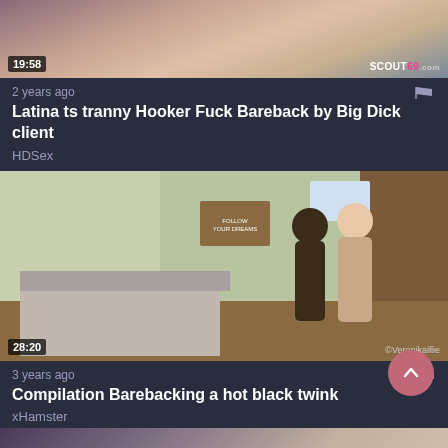[Figure (screenshot): Video thumbnail showing a person, duration 19:58, watermark SCOUT69]
2 years ago
Latina ts tranny Hooker Fuck Bareback by Big Dick client
HDSex
[Figure (screenshot): Video thumbnail showing two people in a room, duration 28:20]
3 years ago
Compilation Barebacking a hot black twink
xHamster
[Figure (screenshot): Partial video thumbnail at bottom of page]